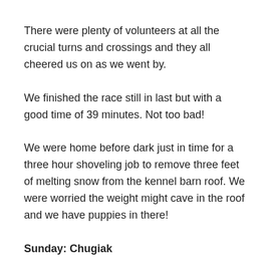There were plenty of volunteers at all the crucial turns and crossings and they all cheered us on as we went by.
We finished the race still in last but with a good time of 39 minutes. Not too bad!
We were home before dark just in time for a three hour shoveling job to remove three feet of melting snow from the kennel barn roof. We were worried the weight might cave in the roof and we have puppies in there!
Sunday: Chugiak